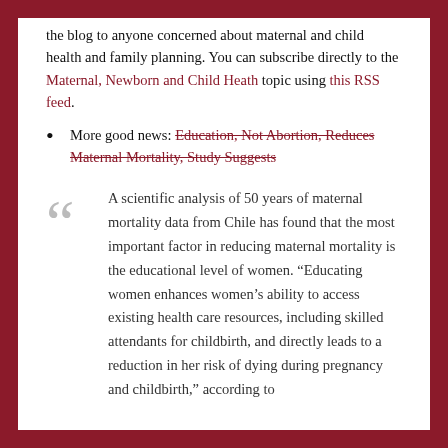the blog to anyone concerned about maternal and child health and family planning. You can subscribe directly to the Maternal, Newborn and Child Heath topic using this RSS feed.
More good news: Education, Not Abortion, Reduces Maternal Mortality, Study Suggests
A scientific analysis of 50 years of maternal mortality data from Chile has found that the most important factor in reducing maternal mortality is the educational level of women. "Educating women enhances women's ability to access existing health care resources, including skilled attendants for childbirth, and directly leads to a reduction in her risk of dying during pregnancy and childbirth," according to